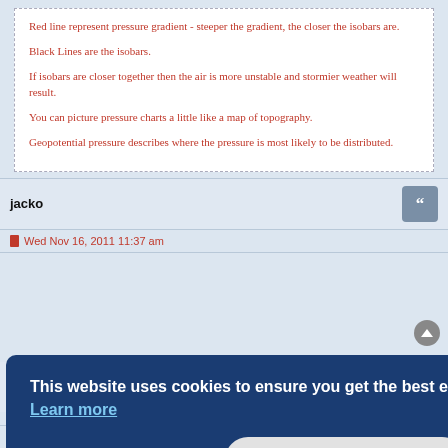Red line represent pressure gradient - steeper the gradient, the closer the isobars are.
Black Lines are the isobars.
If isobars are closer together then the air is more unstable and stormier weather will result.
You can picture pressure charts a little like a map of topography.
Geopotential pressure describes where the pressure is most likely to be distributed.
jacko
Wed Nov 16, 2011 11:37 am
This website uses cookies to ensure you get the best experience on our website. Learn more
Got it!
Wed Nov 16, 2011 12:12 pm